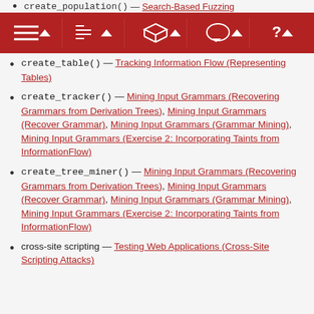create_population() — Search-Based Fuzzing
[Figure (screenshot): Red navigation toolbar with menu icons and dropdown arrows]
create_table() — Tracking Information Flow (Representing Tables)
create_tracker() — Mining Input Grammars (Recovering Grammars from Derivation Trees), Mining Input Grammars (Recover Grammar), Mining Input Grammars (Grammar Mining), Mining Input Grammars (Exercise 2: Incorporating Taints from InformationFlow)
create_tree_miner() — Mining Input Grammars (Recovering Grammars from Derivation Trees), Mining Input Grammars (Recover Grammar), Mining Input Grammars (Grammar Mining), Mining Input Grammars (Exercise 2: Incorporating Taints from InformationFlow)
cross-site scripting — Testing Web Applications (Cross-Site Scripting Attacks)